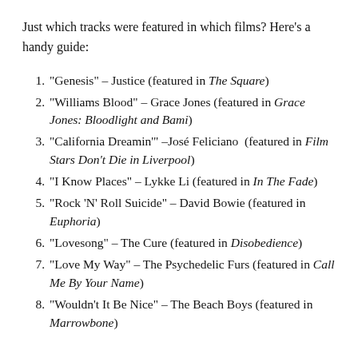Just which tracks were featured in which films? Here's a handy guide:
"Genesis" – Justice (featured in The Square)
"Williams Blood" – Grace Jones (featured in Grace Jones: Bloodlight and Bami)
"California Dreamin'" –José Feliciano (featured in Film Stars Don't Die in Liverpool)
"I Know Places" – Lykke Li (featured in In The Fade)
"Rock 'N' Roll Suicide" – David Bowie (featured in Euphoria)
"Lovesong" – The Cure (featured in Disobedience)
"Love My Way" – The Psychedelic Furs (featured in Call Me By Your Name)
"Wouldn't It Be Nice" – The Beach Boys (featured in Marrowbone)